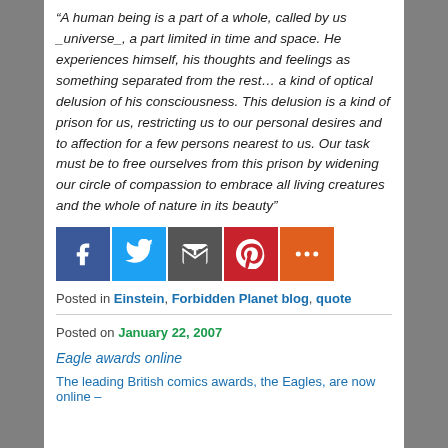“A human being is a part of a whole, called by us _universe_, a part limited in time and space. He experiences himself, his thoughts and feelings as something separated from the rest… a kind of optical delusion of his consciousness. This delusion is a kind of prison for us, restricting us to our personal desires and to affection for a few persons nearest to us. Our task must be to free ourselves from this prison by widening our circle of compassion to embrace all living creatures and the whole of nature in its beauty”
[Figure (infographic): Social sharing buttons: Facebook (blue), Twitter (light blue), Email (dark gray), Pinterest (red), More (orange-red)]
Posted in Einstein, Forbidden Planet blog, quote
Posted on January 22, 2007
Eagle awards online
The leading British comics awards, the Eagles, are now online –